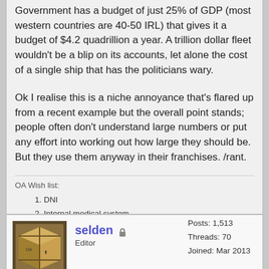Government has a budget of just 25% of GDP (most western countries are 40-50 IRL) that gives it a budget of $4.2 quadrillion a year. A trillion dollar fleet wouldn't be a blip on its accounts, let alone the cost of a single ship that has the politicians wary.
Ok I realise this is a niche annoyance that's flared up from a recent example but the overall point stands; people often don't understand large numbers or put any effort into working out how large they should be. But they use them anyway in their franchises. /rant.
OA Wish list:
DNI
Internal medical system
A dormbot, because domestic chores suck!
[Figure (other): Find button with magnifying glass icon]
[Figure (other): Reply button with speech bubble icon]
[Figure (photo): Avatar image of user selden showing a cardboard box with markings]
selden
Editor
Posts: 1,513
Threads: 70
Joined: Mar 2013